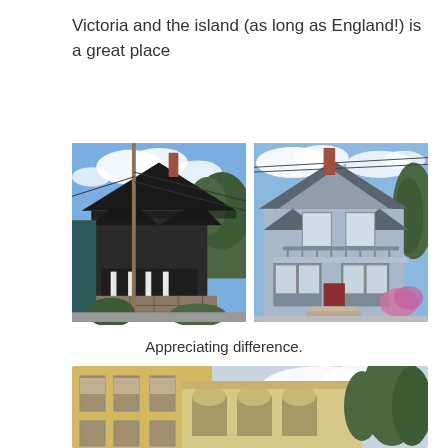Victoria and the island (as long as England!) is a great place
[Figure (photo): Side-by-side photos of two historic Victorian-style houses in Victoria. Left: dark grey/teal craftsman house with steep gabled roof, covered porch with stone foundation, tall utility pole in foreground. Right: light blue/grey Victorian house with ornate trim, balcony, red door, flowering bushes.]
Appreciating difference.
[Figure (photo): Partial view of a yellow/cream brick historic building with arched windows and classical architectural details, with trees in background and cloudy sky.]